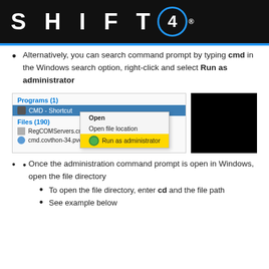SHIFT4
Alternatively, you can search command prompt by typing cmd in the Windows search option, right-click and select Run as administrator
[Figure (screenshot): Windows search showing CMD - Shortcut with right-click context menu highlighting 'Run as administrator' option. Shows Programs (1) and Files (190) sections. A black rectangle is partially visible to the right.]
Once the administration command prompt is open in Windows, open the file directory
To open the file directory, enter cd and the file path
See example below